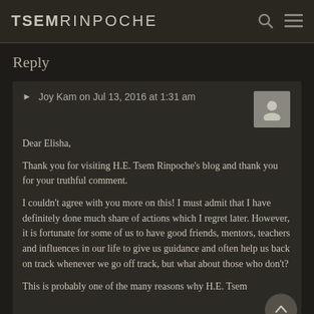TSEM RINPOCHE
Reply
Joy Kam on Jul 13, 2016 at 1:31 am
Dear Elisha,

Thank you for visiting H.E. Tsem Rinpoche's blog and thank you for your truthful comment.

I couldn't agree with you more on this! I must admit that I have definitely done much share of actions which I regret later. However, it is fortunate for some of us to have good friends, mentors, teachers and influences in our life to give us guidance and often help us back on track whenever we go off track, but what about those who don't?

This is probably one of the many reasons why H.E. Tsem